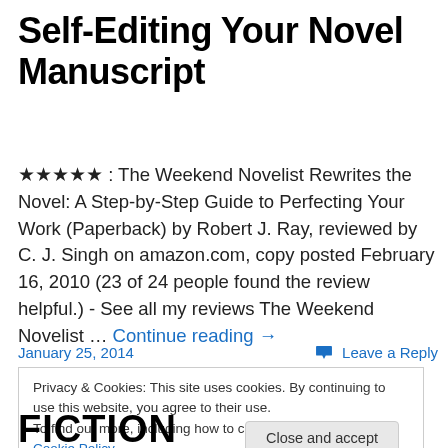Self-Editing Your Novel Manuscript
★★★★★ : The Weekend Novelist Rewrites the Novel: A Step-by-Step Guide to Perfecting Your Work (Paperback) by Robert J. Ray, reviewed by C. J. Singh on amazon.com, copy posted February 16, 2010 (23 of 24 people found the review helpful.) - See all my reviews The Weekend Novelist … Continue reading →
January 25, 2014
Leave a Reply
Privacy & Cookies: This site uses cookies. By continuing to use this website, you agree to their use.
To find out more, including how to control cookies, see here: Cookie Policy
Close and accept
FICTION